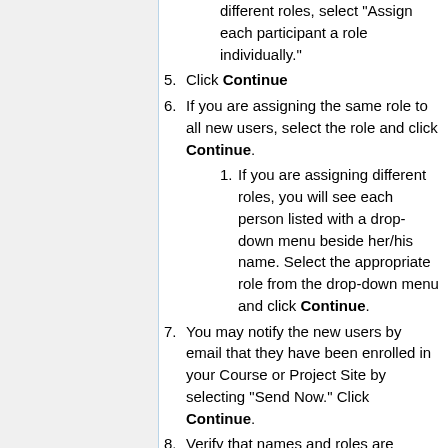(continued nested) If those participants will need different roles, select "Assign each participant a role individually."
5. Click Continue
6. If you are assigning the same role to all new users, select the role and click Continue.
6.1. If you are assigning different roles, you will see each person listed with a drop-down menu beside her/his name. Select the appropriate role from the drop-down menu and click Continue.
7. You may notify the new users by email that they have been enrolled in your Course or Project Site by selecting "Send Now." Click Continue.
8. Verify that names and roles are correct. Click Continue.
You will be returned to your "Site Info"